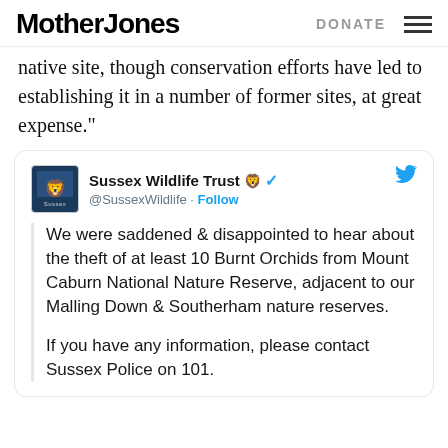Mother Jones | DONATE
native site, though conservation efforts have led to establishing it in a number of former sites, at great expense."
[Figure (screenshot): Embedded tweet from Sussex Wildlife Trust (@SussexWildlife) with verified badge and lion emoji. Tweet text: 'We were saddened & disappointed to hear about the theft of at least 10 Burnt Orchids from Mount Caburn National Nature Reserve, adjacent to our Malling Down & Southerham nature reserves.

If you have any information, please contact Sussex Police on 101.']